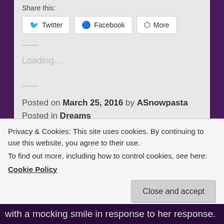Share this:
Twitter  Facebook  More
Loading...
Posted on March 25, 2016 by ASnowpasta
Posted in Dreams
Leave a comment
Privacy & Cookies: This site uses cookies. By continuing to use this website, you agree to their use.
To find out more, including how to control cookies, see here:
Cookie Policy
Close and accept
with a mocking smile in response to her response.